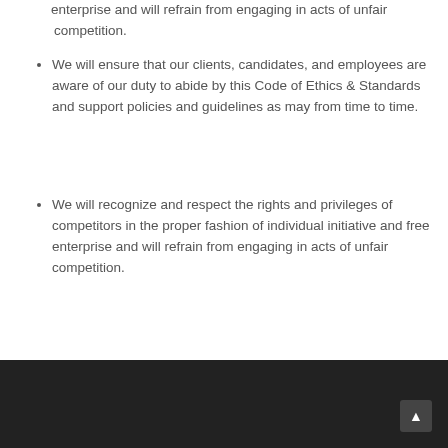enterprise and will refrain from engaging in acts of unfair competition.
We will ensure that our clients, candidates, and employees are aware of our duty to abide by this Code of Ethics & Standards and support policies and guidelines as may from time to time.
We will recognize and respect the rights and privileges of competitors in the proper fashion of individual initiative and free enterprise and will refrain from engaging in acts of unfair competition.
We will ensure that our clients, candidates, and employees are aware of our duty to abide by this Code of Ethics & Standards and support policies and guidelines as may from time to time.